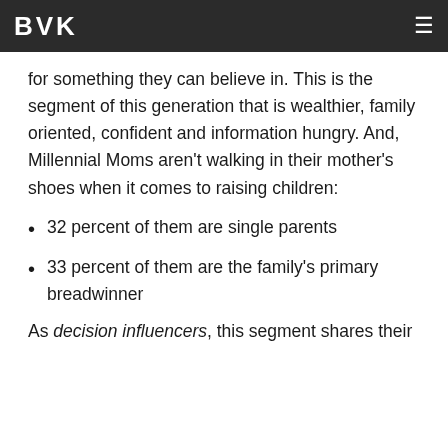BVK
for something they can believe in. This is the segment of this generation that is wealthier, family oriented, confident and information hungry. And, Millennial Moms aren’t walking in their mother’s shoes when it comes to raising children:
32 percent of them are single parents
33 percent of them are the family's primary breadwinner
As decision influencers, this segment shares their